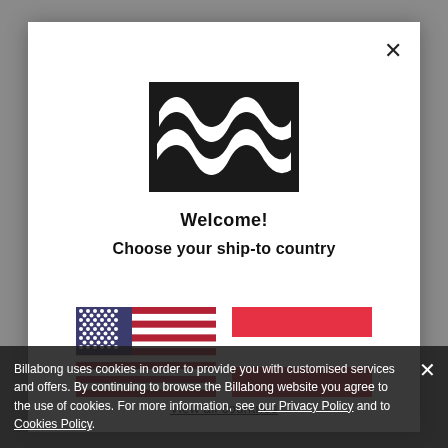[Figure (logo): Billabong logo — black rectangle with white wave shapes]
Welcome!
Choose your ship-to country
[Figure (illustration): US flag and another country flag (red solid) side by side]
View all countries
Billabong uses cookies in order to provide you with customised services and offers. By continuing to browse the Billabong website you agree to the use of cookies. For more information, see our Privacy Policy and to Cookies Policy.